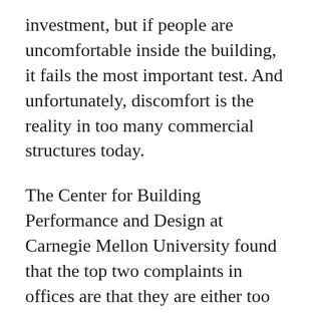investment, but if people are uncomfortable inside the building, it fails the most important test. And unfortunately, discomfort is the reality in too many commercial structures today.
The Center for Building Performance and Design at Carnegie Mellon University found that the top two complaints in offices are that they are either too hot or too cold. Discomfort leads to lower worker productivity. For example, other studies have shown that more typing mistakes occur when a room is too cold. Conversely, workers in green buildings are absent less often due to illness.